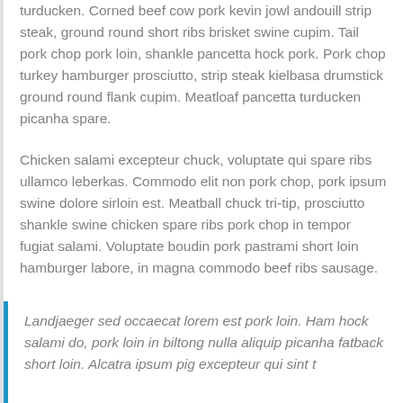turducken. Corned beef cow pork kevin jowl andouill strip steak, ground round short ribs brisket swine cupim. Tail pork chop pork loin, shankle pancetta hock pork. Pork chop turkey hamburger prosciutto, strip steak kielbasa drumstick ground round flank cupim. Meatloaf pancetta turducken picanha spare.
Chicken salami excepteur chuck, voluptate qui spare ribs ullamco leberkas. Commodo elit non pork chop, pork ipsum swine dolore sirloin est. Meatball chuck tri-tip, prosciutto shankle swine chicken spare ribs pork chop in tempor fugiat salami. Voluptate boudin pork pastrami short loin hamburger labore, in magna commodo beef ribs sausage.
Landjaeger sed occaecat lorem est pork loin. Ham hock salami do, pork loin in biltong nulla aliquip picanha fatback short loin. Alcatra ipsum pig excepteur qui sint t...